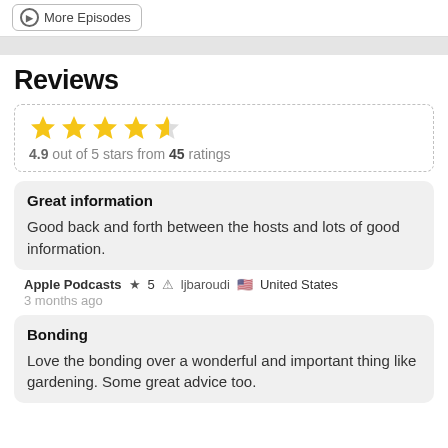More Episodes
Reviews
4.9 out of 5 stars from 45 ratings
Great information
Good back and forth between the hosts and lots of good information.
Apple Podcasts  ★ 5  ljbaroudi  🇺🇸 United States
3 months ago
Bonding
Love the bonding over a wonderful and important thing like gardening. Some great advice too.